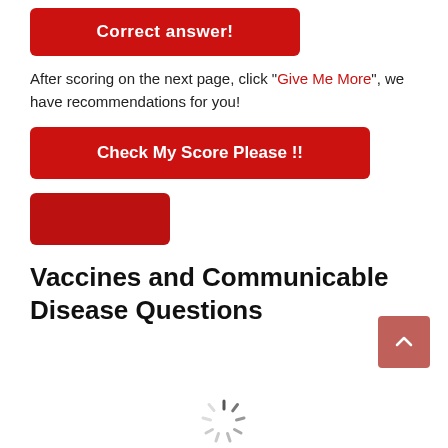[Figure (other): Red button labeled 'Correct answer!']
After scoring on the next page, click "Give Me More", we have recommendations for you!
[Figure (other): Red button labeled 'Check My Score Please !!']
[Figure (other): Small red rectangle button with no visible text]
Vaccines and Communicable Disease Questions
[Figure (other): Back-to-top arrow button in muted red]
[Figure (other): Loading spinner icon]